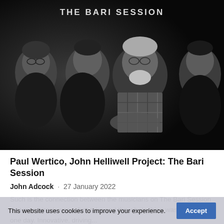[Figure (photo): Black and white group photo of four men posing together with text 'THE BARI SESSION' at the top]
Paul Wertico, John Helliwell Project: The Bari Session
John Adcock · 27 January 2022
Such is the connection between the musicians on The Bari Session that every track was a first take and the whole thing was recorded in one day. Innovative, driving...
This website uses cookies to improve your experience.